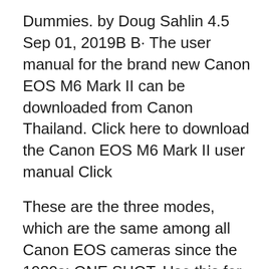Dummies. by Doug Sahlin 4.5 Sep 01, 2019В В· The user manual for the brand new Canon EOS M6 Mark II can be downloaded from Canon Thailand. Click here to download the Canon EOS M6 Mark II user manual Click
These are the three modes, which are the same among all Canon EOS cameras since the 1980s: ONE SHOT. Use this for still subjects. The camera focuses, and locks as soon as it gets focus. You then may recompose. Use this, and wait for AF to lock, before you grab the вЂ¦ Canon EOS 6D Mark II Digital SLR Camera Cheatsheet (short version, laminated instructions for Canon 6D Mark II) Canon EOS 7D MK II (Expanded Guides) by David Taylor Jun 1,